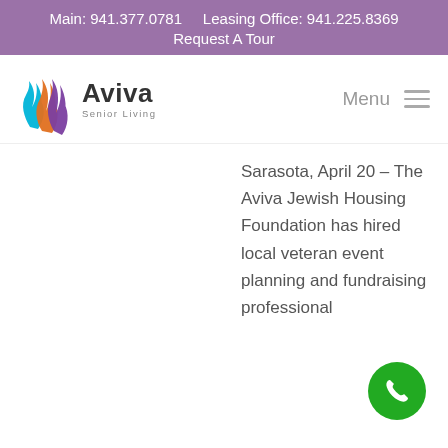Main: 941.377.0781    Leasing Office: 941.225.8369
Request A Tour
[Figure (logo): Aviva Senior Living logo with flame icon in blue, orange, and purple]
Menu
Sarasota, April 20 – The Aviva Jewish Housing Foundation has hired local veteran event planning and fundraising professional